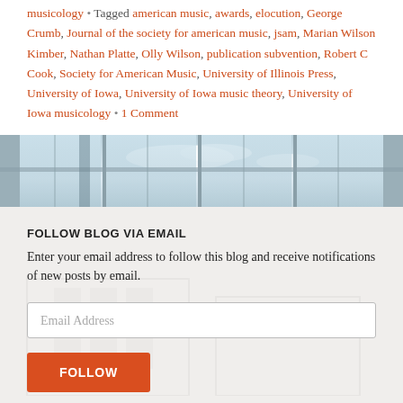musicology • Tagged american music, awards, elocution, George Crumb, Journal of the society for american music, jsam, Marian Wilson Kimber, Nathan Platte, Olly Wilson, publication subvention, Robert C Cook, Society for American Music, University of Illinois Press, University of Iowa, University of Iowa music theory, University of Iowa musicology • 1 Comment
[Figure (photo): Interior architectural photo showing large glass windows and curtain wall facade with bright sky visible behind]
FOLLOW BLOG VIA EMAIL
Enter your email address to follow this blog and receive notifications of new posts by email.